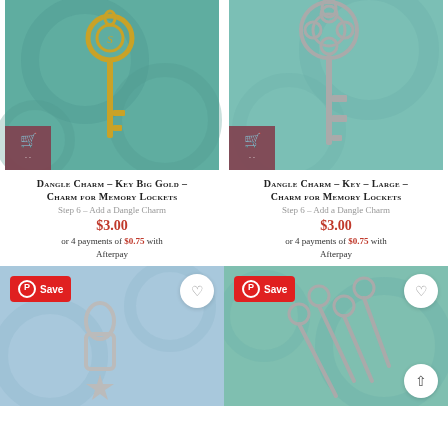[Figure (photo): Gold ornate key charm on teal/green background with shopping cart button overlay]
Dangle Charm – Key Big Gold – Charm for Memory Lockets
Step 6 – Add a Dangle Charm
$3.00
or 4 payments of $0.75 with Afterpay
[Figure (photo): Silver skeleton key charm on teal background with shopping cart button overlay]
Dangle Charm – Key – Large – Charm for Memory Lockets
Step 6 – Add a Dangle Charm
$3.00
or 4 payments of $0.75 with Afterpay
[Figure (photo): Silver star lobster clasp charm on blue background with Pinterest Save button and heart button]
[Figure (photo): Silver scissors charm on teal background with Pinterest Save button, heart button, and back-to-top arrow button]